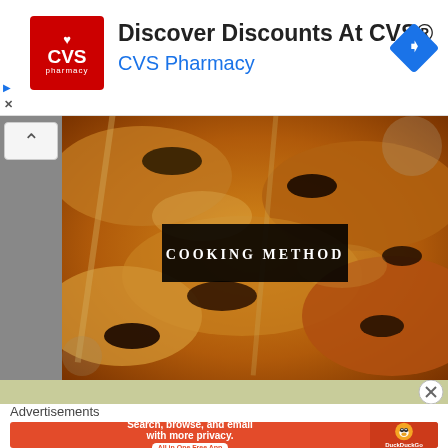[Figure (other): CVS Pharmacy advertisement banner with CVS logo (red square with heart), headline 'Discover Discounts At CVS®', subtitle 'CVS Pharmacy' in blue, and blue diamond navigation arrow icon on the right. Play and X icons on the left edge.]
[Figure (photo): Close-up food photo of grilled/charred meat skewers (chicken or kebab) with a black semi-transparent overlay banner reading 'COOKING METHOD' in white spaced capitals. A collapse/chevron-up button is shown in the top-left area.]
[Figure (other): Green-tinted strip (partial food image) with a circled X close button on the right.]
Advertisements
[Figure (other): DuckDuckGo advertisement banner on orange-red background: 'Search, browse, and email with more privacy. All in One Free App' with DuckDuckGo duck logo on the right.]